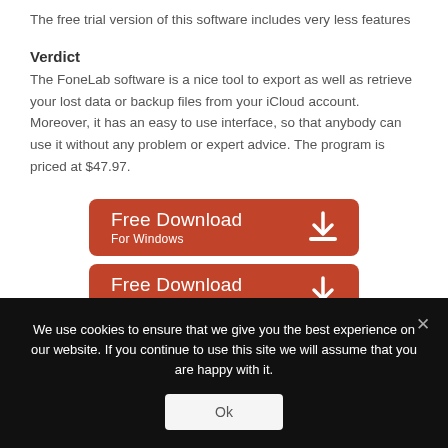The free trial version of this software includes very less features
Verdict
The FoneLab software is a nice tool to export as well as retrieve your lost data or backup files from your iCloud account. Moreover, it has an easy to use interface, so that anybody can use it without any problem or expert advice. The program is priced at $47.97.
[Figure (other): Red download button labeled 'Free Download For Windows' with download icon]
[Figure (other): Red download button labeled 'Free Download For Mac' with download icon]
We use cookies to ensure that we give you the best experience on our website. If you continue to use this site we will assume that you are happy with it.